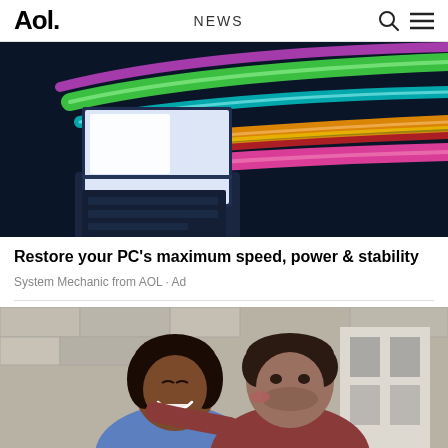Aol. NEWS
[Figure (photo): Laptop on dark blue background with colorful light streaks (green, orange, pink, teal) radiating from the screen]
Restore your PC's maximum speed, power & stability
System Mechanic from AOL · Ad
[Figure (photo): A smiling woman being kissed on the cheek by a man, outdoors in front of a stone building]